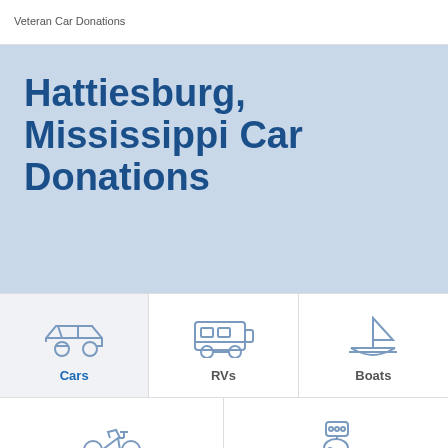Veteran Car Donations
Hattiesburg, Mississippi Car Donations
[Figure (infographic): Vehicle donation category grid with icons: Cars (active/highlighted), RVs, Boats, Motorcycles, Other]